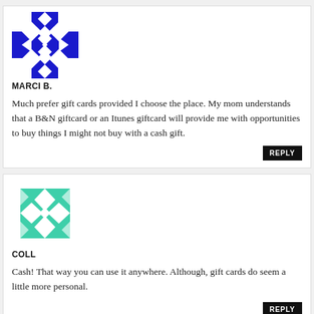[Figure (illustration): Blue and white geometric quilt-pattern avatar for user Marci B.]
MARCI B.
Much prefer gift cards provided I choose the place. My mom understands that a B&N giftcard or an Itunes giftcard will provide me with opportunities to buy things I might not buy with a cash gift.
[Figure (illustration): Teal/green and white geometric quilt-pattern avatar for user Coll.]
COLL
Cash! That way you can use it anywhere. Although, gift cards do seem a little more personal.